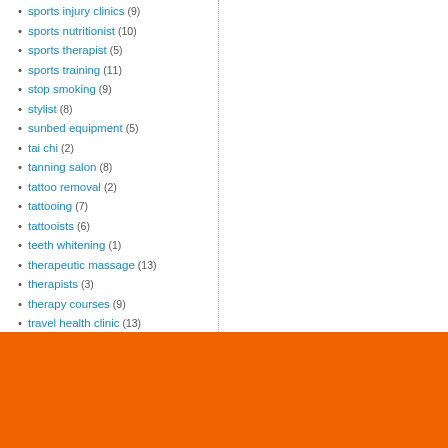sports injury clinics (9)
sports nutritionist (10)
sports therapist (5)
sports training (11)
stop smoking (9)
stylist (8)
sunbed equipment (5)
tai chi (2)
tanning salon (8)
tattoo removal (2)
tattooing (7)
tattooists (6)
teeth whitening (1)
therapeutic massage (13)
therapists (3)
therapy courses (9)
travel health clinic (13)
treatments (9)
waxing (8)
weight control (8)
weight loss (4)
wellbeing (8)
wellness (5)
wig maker (1)
womens health (9)
yoga (7)
Darlington (5)